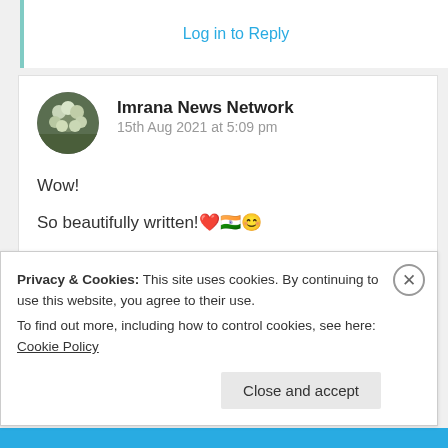Log in to Reply
Imrana News Network
15th Aug 2021 at 5:09 pm
Wow!
So beautifully written!❤🇮🇳😊
★ Liked by 3 people
Log in to Reply
Privacy & Cookies: This site uses cookies. By continuing to use this website, you agree to their use.
To find out more, including how to control cookies, see here: Cookie Policy
Close and accept